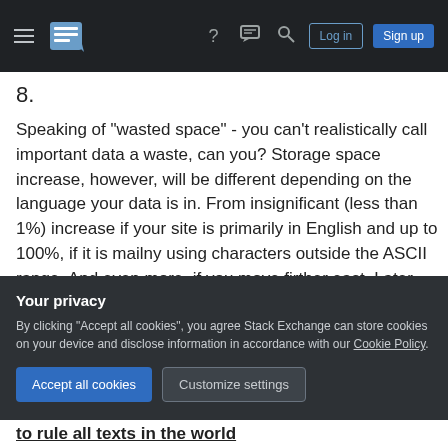Stack Exchange navigation bar with hamburger menu, logo, help, chat, search icons, Log in and Sign up buttons
8.
Speaking of "wasted space" - you can't realistically call important data a waste, can you? Storage space increase, however, will be different depending on the language your data is in. From insignificant (less than 1%) increase if your site is primarily in English and up to 100%, if it is mailny using characters outside the ASCII range. And even more, if you move firther east. Later UTF-8 (so-called UTF8mb4) specifications allow up to 4 bytes per
Your privacy
By clicking "Accept all cookies", you agree Stack Exchange can store cookies on your device and disclose information in accordance with our Cookie Policy.
Accept all cookies   Customize settings
to rule all texts in the world